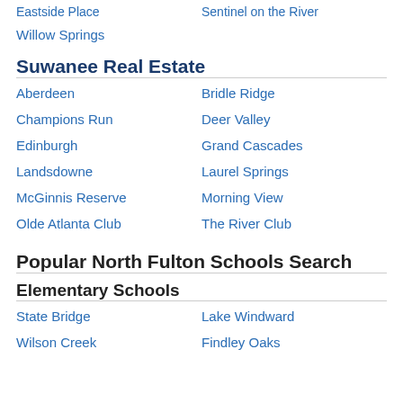Willow Springs
Suwanee Real Estate
Aberdeen
Bridle Ridge
Champions Run
Deer Valley
Edinburgh
Grand Cascades
Landsdowne
Laurel Springs
McGinnis Reserve
Morning View
Olde Atlanta Club
The River Club
Popular North Fulton Schools Search
Elementary Schools
State Bridge
Lake Windward
Wilson Creek
Findley Oaks